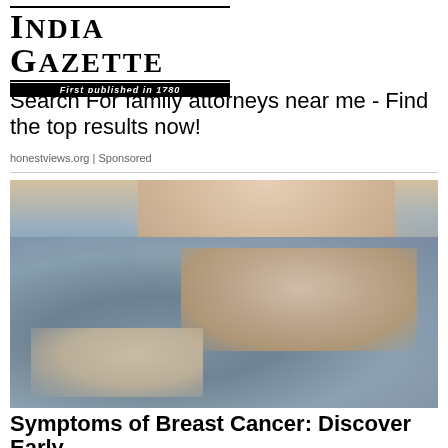INDIA GAZETTE — First published in 1780
Search For family attorneys near me - Find the top results now!
honestviews.org | Sponsored
[Figure (photo): Close-up photo of a woman in a grey top performing a breast self-examination with both hands]
Symptoms of Breast Cancer: Discover Early